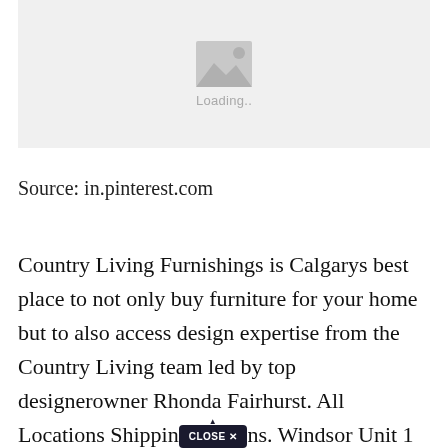[Figure (photo): Image loading placeholder with mountain/photo icon and 'Loading..' text on light grey background]
Source: in.pinterest.com
Country Living Furnishings is Calgarys best place to not only buy furniture for your home but to also access design expertise from the Country Living team led by top designerowner Rhonda Fairhurst. All Locations Shipping [CLOSE X] ns. Windsor Unit 1